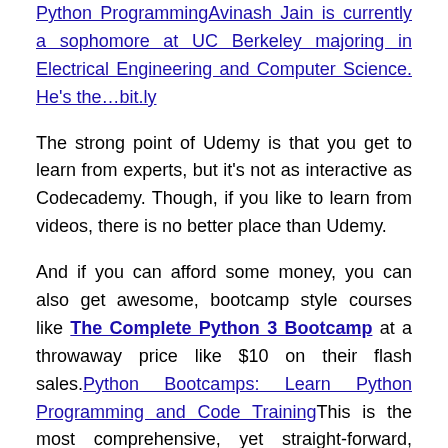Python ProgrammingAvinash Jain is currently a sophomore at UC Berkeley majoring in Electrical Engineering and Computer Science. He's the…bit.ly
The strong point of Udemy is that you get to learn from experts, but it's not as interactive as Codecademy. Though, if you like to learn from videos, there is no better place than Udemy.
And if you can afford some money, you can also get awesome, bootcamp style courses like The Complete Python 3 Bootcamp at a throwaway price like $10 on their flash sales.Python Bootcamps: Learn Python Programming and Code TrainingThis is the most comprehensive, yet straight-forward, course for the Python programming language on Udemy!